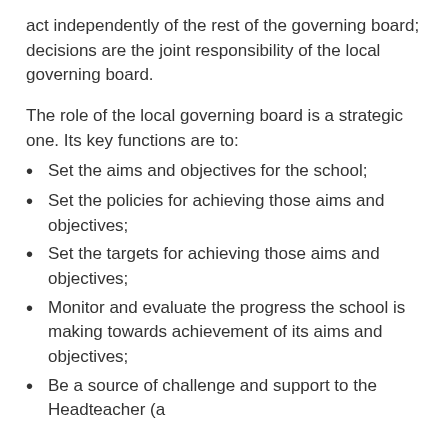act independently of the rest of the governing board; decisions are the joint responsibility of the local governing board.
The role of the local governing board is a strategic one. Its key functions are to:
Set the aims and objectives for the school;
Set the policies for achieving those aims and objectives;
Set the targets for achieving those aims and objectives;
Monitor and evaluate the progress the school is making towards achievement of its aims and objectives;
Be a source of challenge and support to the Headteacher (a